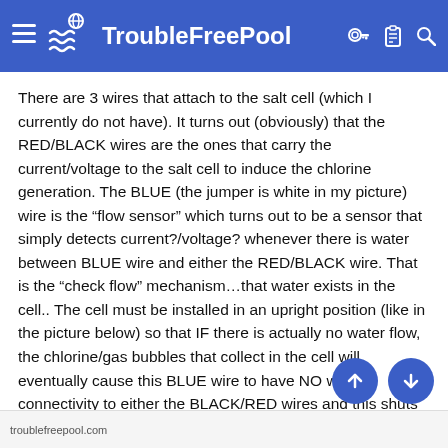TroubleFreePool
There are 3 wires that attach to the salt cell (which I currently do not have). It turns out (obviously) that the RED/BLACK wires are the ones that carry the current/voltage to the salt cell to induce the chlorine generation. The BLUE (the jumper is white in my picture) wire is the “flow sensor” which turns out to be a sensor that simply detects current?/voltage? whenever there is water between BLUE wire and either the RED/BLACK wire. That is the “check flow” mechanism…that water exists in the cell.. The cell must be installed in an upright position (like in the picture below) so that IF there is actually no water flow, the chlorine/gas bubbles that collect in the cell will eventually cause this BLUE wire to have NO water connectivity to either the BLACK/RED wires and this shuts off the cell. Pretty simple, but a bit scary.